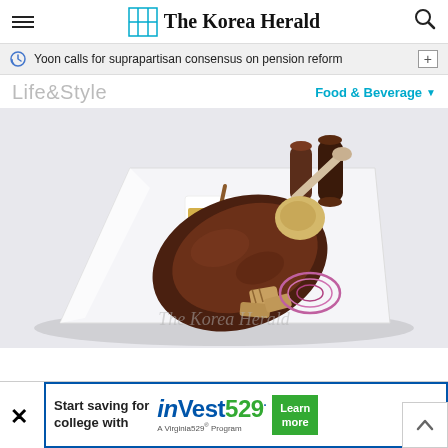The Korea Herald
Yoon calls for suprapartisan consensus on pension reform
Life&Style
Food & Beverage
[Figure (photo): A grilled meat dish (large bone-in cut) served on a white square plate with grilled potatoes, sliced red onion, a small bowl of mustard sauce with a wooden spoon, and two pepper grinders in the background. Watermark reads 'The Korea Herald'.]
Start saving for college with inVest529· A Virginia529® Program Learn more